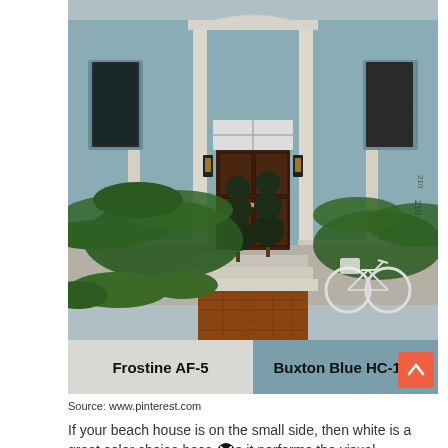[Figure (photo): Exterior of a Southern-style house with blue-gray shutters, dark wood double front doors with transom window above, wall lanterns, palm trees, lush landscaping, brick walkway, and a white bicycle leaning near the entrance. Number 210 visible on the right side.]
Frostine AF-5 | Buxton Blue HC-149
Source: www.pinterest.com
If your beach house is on the small side, then white is a great color choice because it performs the visual